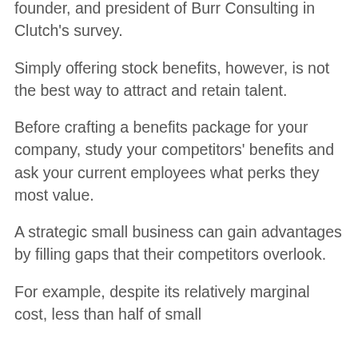founder, and president of Burr Consulting in Clutch's survey.
Simply offering stock benefits, however, is not the best way to attract and retain talent.
Before crafting a benefits package for your company, study your competitors' benefits and ask your current employees what perks they most value.
A strategic small business can gain advantages by filling gaps that their competitors overlook.
For example, despite its relatively marginal cost, less than half of small